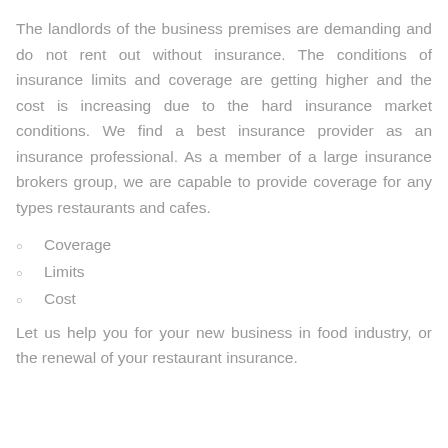The landlords of the business premises are demanding and do not rent out without insurance. The conditions of insurance limits and coverage are getting higher and the cost is increasing due to the hard insurance market conditions. We find a best insurance provider as an insurance professional. As a member of a large insurance brokers group, we are capable to provide coverage for any types restaurants and cafes.
Coverage
Limits
Cost
Let us help you for your new business in food industry, or the renewal of your restaurant insurance.